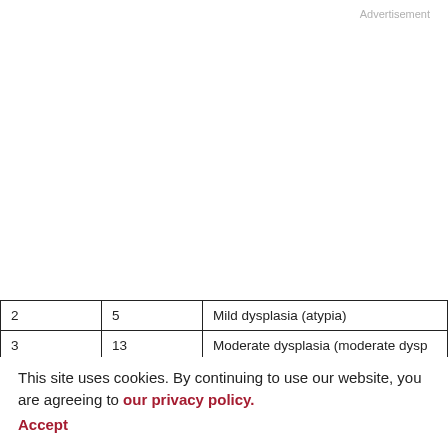Advertisement
| 2 | 5 | Mild dysplasia (atypia) |
| 3 | 13 | Moderate dysplasia (moderate dysp... |
| 5 | 18 | No recurrence‡‡ |
| 7 | 20 | Moderate dysplasia (moderate dysp... |
| 9 | 15 | No recurrence‡‡ |
| 10 | 16 | Mild dysplasia (atypia) |
|  |  | Moderate dysplasia (moderate dysp... |
| 16 | 3 | No recurrence‡‡ |
|  |  |  |
This site uses cookies. By continuing to use our website, you are agreeing to our privacy policy. Accept